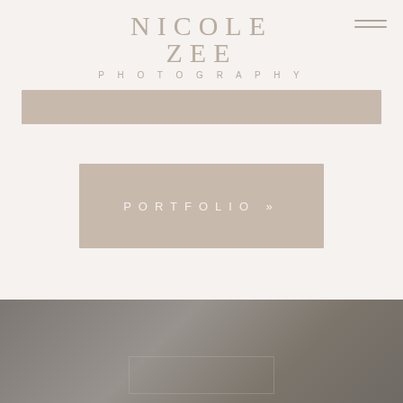NICOLE ZEE
PHOTOGRAPHY
[Figure (other): Hamburger menu icon with two horizontal lines]
[Figure (other): Horizontal banner bar in taupe/beige color]
PORTFOLIO »
[Figure (photo): Dark grey photographic background image at bottom of page, partially visible, showing a subtle fabric or surface texture]